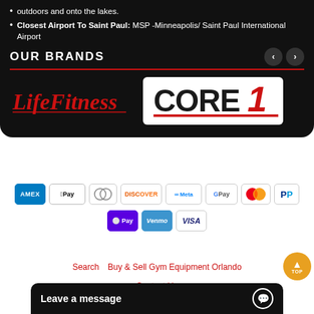outdoors and onto the lakes.
Closest Airport To Saint Paul: MSP -Minneapolis/ Saint Paul International Airport
OUR BRANDS
[Figure (logo): Life Fitness logo in red script on dark background]
[Figure (logo): CORE 1 logo in large bold text on white background with red underline]
[Figure (other): Payment method badges: AMEX, Apple Pay, Diners Club, Discover, Meta, Google Pay, Mastercard, PayPal, OPay, Venmo, VISA]
Search    Buy & Sell Gym Equipment Orlando    Contact Us    Terms | C...
Leave a message